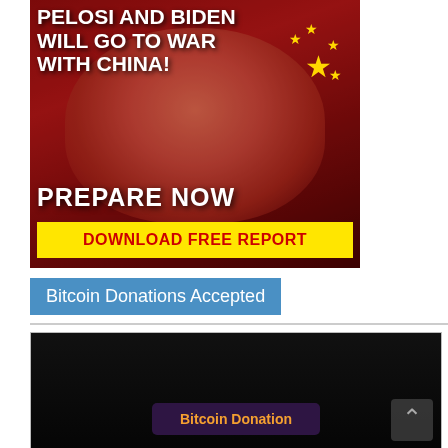[Figure (infographic): Political advertisement/infographic showing a woman's face overlaid with a Chinese flag (red background with yellow stars). Text reads 'PELOSI AND BIDEN WILL GO TO WAR WITH CHINA! PREPARE NOW' with a yellow button reading 'DOWNLOAD FREE REPORT']
Bitcoin Donations Accepted
[Figure (screenshot): Dark/black background widget area showing a Bitcoin donation interface with orange text reading 'Bitcoin Donation']